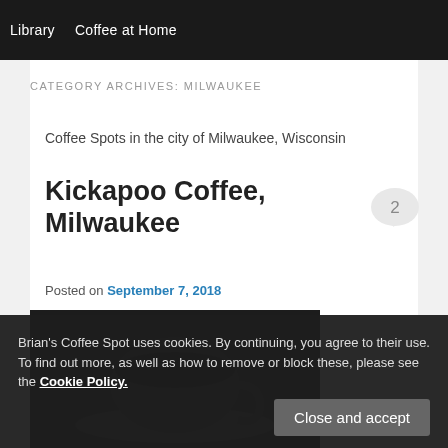Library   Coffee at Home
CATEGORY ARCHIVES: MILWAUKEE
Coffee Spots in the city of Milwaukee, Wisconsin
Kickapoo Coffee, Milwaukee
Posted on September 7, 2018
Brian's Coffee Spot uses cookies. By continuing, you agree to their use. To find out more, as well as how to remove or block these, please see the Cookie Policy.
[Figure (photo): Dark coffee cup on a saucer, photographed from above at an angle, dark background]